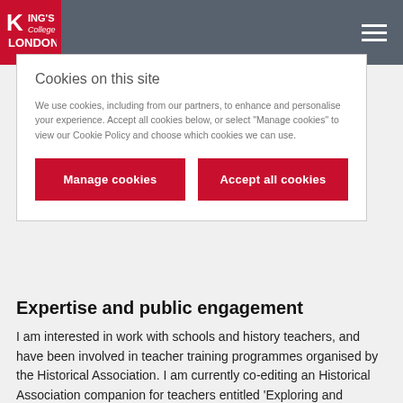King's College London
Cookies on this site
We use cookies, including from our partners, to enhance and personalise your experience. Accept all cookies below, or select "Manage cookies" to view our Cookie Policy and choose which cookies we can use.
Manage cookies | Accept all cookies
Expertise and public engagement
I am interested in work with schools and history teachers, and have been involved in teacher training programmes organised by the Historical Association. I am currently co-editing an Historical Association companion for teachers entitled ‘Exploring and Teaching Twentieth-Century History’, which is scheduled for publication in 2019.